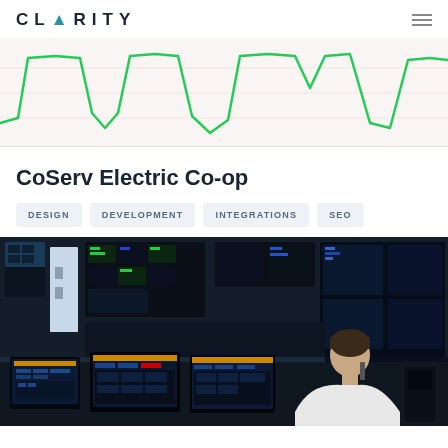CLARITY
[Figure (continuous-plot): Green line chart on light pink/white background showing fluctuating waveform pattern — appears to be an energy or signal chart]
CoServ Electric Co-op
DESIGN
DEVELOPMENT
INTEGRATIONS
SEO
[Figure (photo): A man in a white shirt sits at a control room workstation with multiple monitors showing blue dashboard interfaces. Large video wall screens in background showing SCADA/control system displays.]